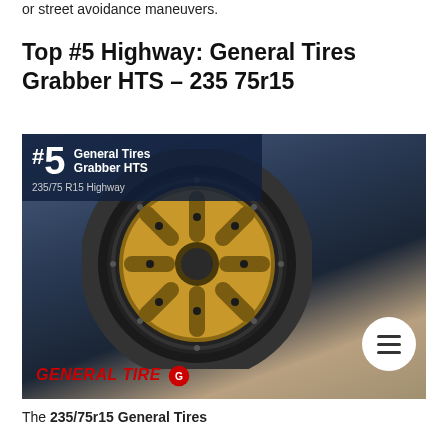or street avoidance maneuvers.
Top #5 Highway: General Tires Grabber HTS – 235 75r15
[Figure (photo): Photo of a truck tire mounted on a bronze/gold alloy wheel on a blue SUV/truck, with a dark overlay badge in the top-left showing '#5 General Tires Grabber HTS 235/75 R15 Highway', a General Tire logo in the bottom-left, and a circular menu button in the bottom-right.]
The 235/75r15 General Tires